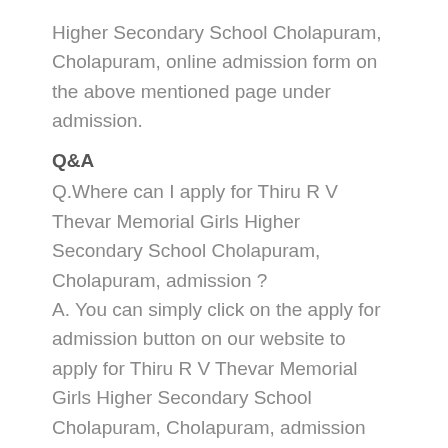Higher Secondary School Cholapuram, Cholapuram, online admission form on the above mentioned page under admission.
Q&A
Q.Where can I apply for Thiru R V Thevar Memorial Girls Higher Secondary School Cholapuram, Cholapuram, admission ?
A. You can simply click on the apply for admission button on our website to apply for Thiru R V Thevar Memorial Girls Higher Secondary School Cholapuram, Cholapuram, admission and fill out the form, a copy will be sent to the school for consideration and you will also